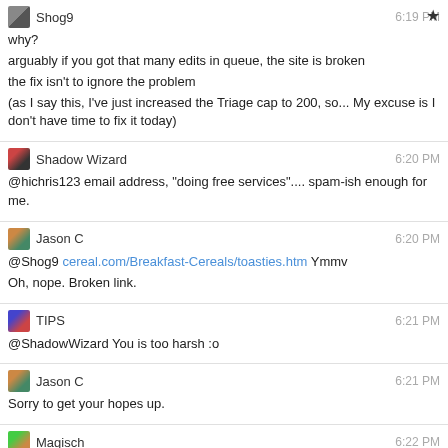Shog9 6:19 PM
why?
arguably if you got that many edits in queue, the site is broken
the fix isn't to ignore the problem
(as I say this, I've just increased the Triage cap to 200, so... My excuse is I don't have time to fix it today)
Shadow Wizard 6:20 PM
@hichris123 email address, "doing free services".... spam-ish enough for me.
Jason C 6:20 PM
@Shog9 cereal.com/Breakfast-Cereals/toasties.htm Ymmv
Oh, nope. Broken link.
TIPS 6:21 PM
@ShadowWizard You is too harsh :o
Jason C 6:21 PM
Sorry to get your hopes up.
Magisch 6:22 PM
@Shog9 I actually maxed out all but 2 queues today
Which is more painful then it sounds
>_>
My excuse is that I was doing it while chain testing old HDDs >_<
Wow
Someone really, really doesn't like me